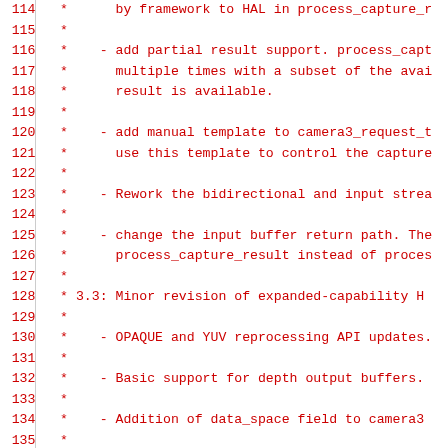Code listing lines 114-135, source code comment block in C/C++ style with red monospace font on white background. Line numbers in grey on left, code content in red on right.